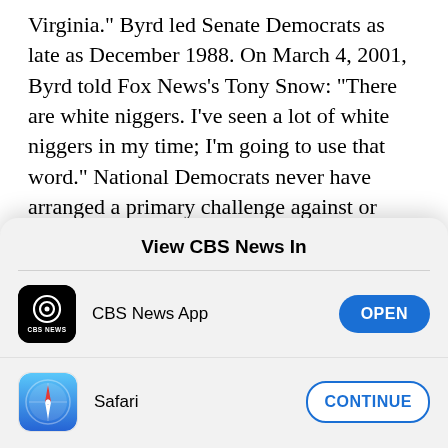Virginia." Byrd led Senate Democrats as late as December 1988. On March 4, 2001, Byrd told Fox News's Tony Snow: "There are white niggers. I've seen a lot of white niggers in my time; I'm going to use that word." National Democrats never have arranged a primary challenge against or otherwise pressed this one-time cross-burner to get lost.
Contrast the KKKozy Democrats with the GOP. When
View CBS News In
CBS News App — OPEN
Safari — CONTINUE